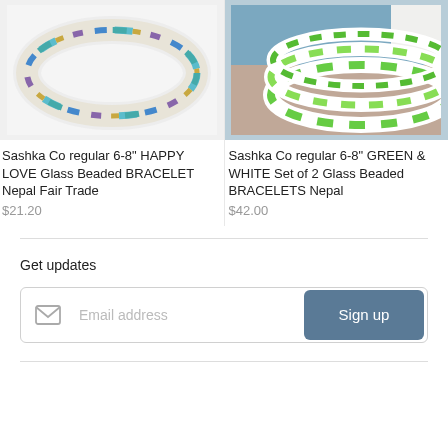[Figure (photo): Beaded bracelet with blue, turquoise, purple, and gold pattern on white background]
[Figure (photo): Green and white beaded bracelets worn on a wrist, close-up photo]
Sashka Co regular 6-8" HAPPY LOVE Glass Beaded BRACELET Nepal Fair Trade
$21.20
Sashka Co regular 6-8" GREEN & WHITE Set of 2 Glass Beaded BRACELETS Nepal
$42.00
Get updates
Email address
Sign up